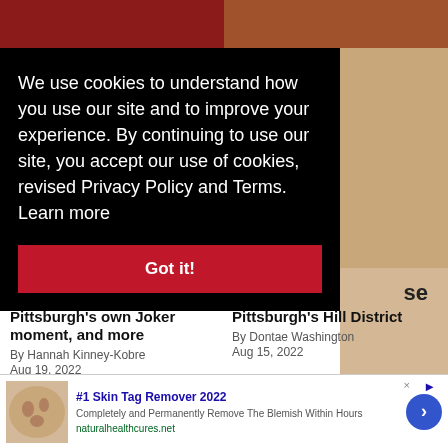[Figure (photo): Top strip with two partial photos — left dark red stadium seats, right brick building exterior]
We use cookies to understand how you use our site and to improve your experience. By continuing to use our site, you accept our use of cookies, revised Privacy Policy and Terms.  Learn more
Got it!
[Figure (photo): Partial right-side photo showing brick building and crowd of people]
se
Pittsburgh's own Joker moment, and more
By Hannah Kinney-Kobre
Aug 19, 2022
Pittsburgh's Hill District
By Dontae Washington
Aug 15, 2022
[Figure (photo): Two partial article thumbnail photos at bottom]
[Figure (photo): Advertisement banner: skin tag image, #1 Skin Tag Remover 2022, naturalhealthcures.net]